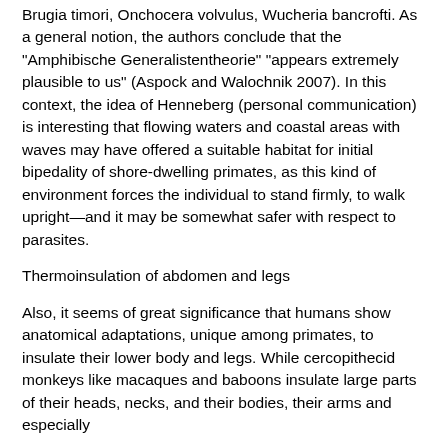Brugia timori, Onchocerca volvulus, Wucheria bancrofti. As a general notion, the authors conclude that the "Amphibische Generalistentheorie" "appears extremely plausible to us" (Aspock and Walochnik 2007). In this context, the idea of Henneberg (personal communication) is interesting that flowing waters and coastal areas with waves may have offered a suitable habitat for initial bipedality of shore-dwelling primates, as this kind of environment forces the individual to stand firmly, to walk upright—and it may be somewhat safer with respect to parasites.
Thermoinsulation of abdomen and legs
Also, it seems of great significance that humans show anatomical adaptations, unique among primates, to insulate their lower body and legs. While cercopithecid monkeys like macaques and baboons insulate large parts of their heads, necks, and their bodies, their arms and especially
Fig. 6 a At an angle of view of about 45°, two objects on the ground of a shallow water are noticed easily. b At an angle of about 35°, the objects are hardly to be seen. Hence, a higher position of the head may be of